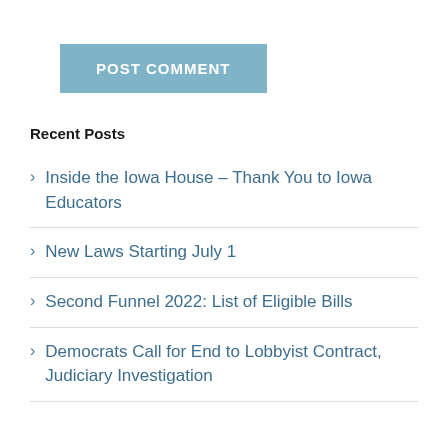[Figure (other): Blue button labeled POST COMMENT]
Recent Posts
Inside the Iowa House – Thank You to Iowa Educators
New Laws Starting July 1
Second Funnel 2022: List of Eligible Bills
Democrats Call for End to Lobbyist Contract, Judiciary Investigation